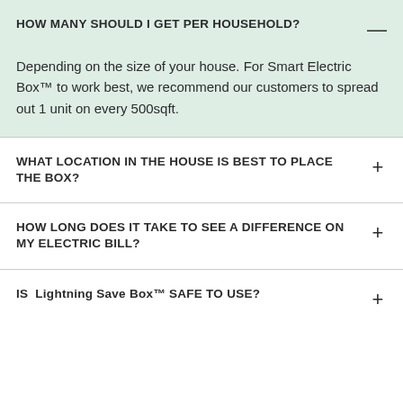HOW MANY SHOULD I GET PER HOUSEHOLD?
Depending on the size of your house. For Smart Electric Box™ to work best, we recommend our customers to spread out 1 unit on every 500sqft.
WHAT LOCATION IN THE HOUSE IS BEST TO PLACE THE BOX?
HOW LONG DOES IT TAKE TO SEE A DIFFERENCE ON MY ELECTRIC BILL?
IS  Lightning Save Box™ SAFE TO USE?